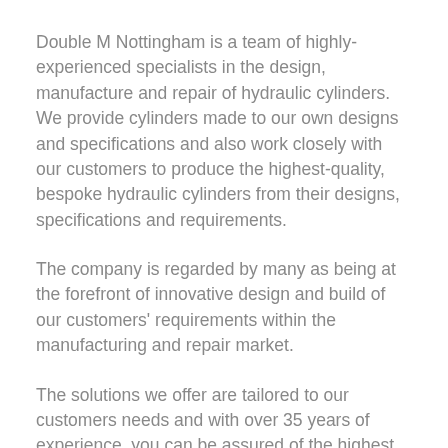Double M Nottingham is a team of highly-experienced specialists in the design, manufacture and repair of hydraulic cylinders.  We provide cylinders made to our own designs and specifications and also work closely with our customers to produce the highest-quality, bespoke hydraulic cylinders from their designs, specifications and requirements.
The company is regarded by many as being at the forefront of innovative design and build of our customers' requirements within the manufacturing and repair market.
The solutions we offer are tailored to our customers needs and with over 35 years of experience, you can be assured of the highest levels of service, knowledge and professionalism.  Our company will manufacture to your drawings or we will design a new cylinder to